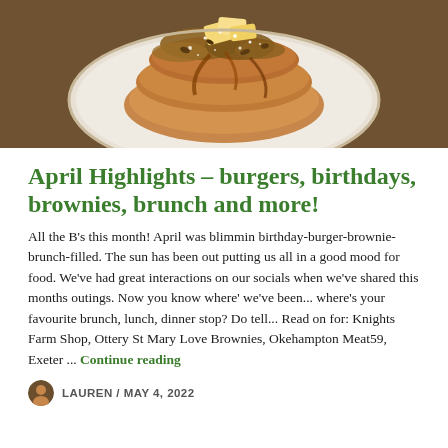[Figure (photo): Overhead close-up photo of stacked pancakes on a white plate, topped with butter, syrup, powdered sugar, and crumbled nuts/caramel pieces]
April Highlights – burgers, birthdays, brownies, brunch and more!
All the B's this month! April was blimmin birthday-burger-brownie-brunch-filled. The sun has been out putting us all in a good mood for food. We've had great interactions on our socials when we've shared this months outings. Now you know where' we've been... where's your favourite brunch, lunch, dinner stop? Do tell... Read on for: Knights Farm Shop, Ottery St Mary Love Brownies, Okehampton Meat59, Exeter ... Continue reading
LAUREN / MAY 4, 2022